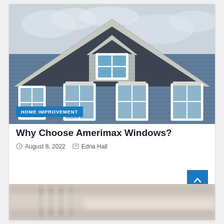[Figure (photo): Exterior of a house with blue-grey vinyl siding, white-trimmed windows, dark shingle roof with dormer window, against a cloudy sky]
HOME IMPROVEMENT
Why Choose Amerimax Windows?
August 8, 2022  Edna Hall
[Figure (photo): Blurred close-up of silverware/cutlery on a table]